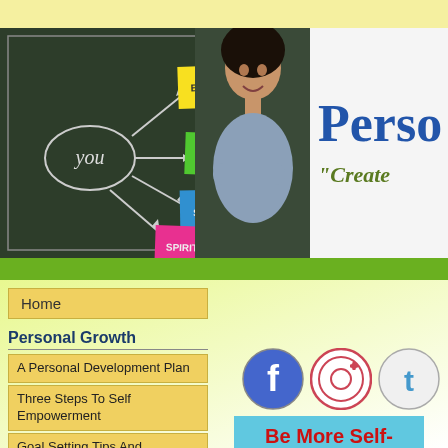[Figure (illustration): Website banner with chalkboard showing 'you' circle with arrows pointing to sticky notes labeled BODY, MIND, SOUL, SPIRIT, woman standing with arms crossed, and partial text 'Person' and '"Create']
Home
Personal Growth
A Personal Development Plan
Three Steps To Self Empowerment
Goal Setting Tips And Strategies
Personal Change Management
[Figure (illustration): Social media icons: Facebook (blue), Pinterest (red/white), Twitter (light grey/blue)]
Be More Self-Confident!